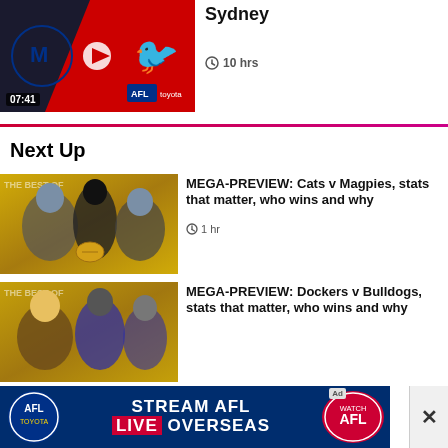[Figure (screenshot): AFL video thumbnail showing Melbourne v Sydney match logos on red background, with timestamp 07:41 and AFL Toyota logo]
Sydney
🕐 10 hrs
Next Up
[Figure (photo): Geelong Cats vs Collingwood Magpies players photo on gold background with 'THE BEST OF' text]
MEGA-PREVIEW: Cats v Magpies, stats that matter, who wins and why
🕐 1 hr
[Figure (photo): Fremantle Dockers vs Western Bulldogs players photo on gold background with 'THE BEST OF' text]
MEGA-PREVIEW: Dockers v Bulldogs, stats that matter, who wins and why
[Figure (screenshot): AFL advertisement banner: STREAM AFL LIVE OVERSEAS, WATCH AFL, with AFL Toyota logo and close button]